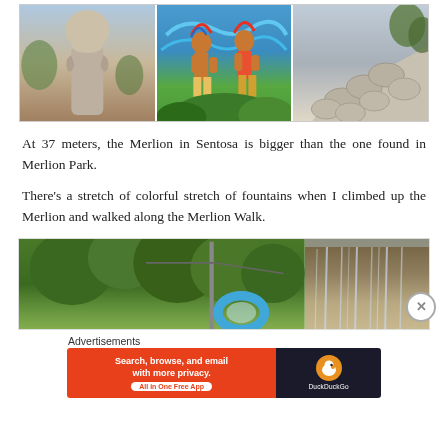[Figure (photo): Three images in a row: left shows a tall stone Merlion statue against a cloudy sky; center shows colorful graffiti/mural of two indigenous figures; right shows a close-up of the Merlion's fish-scale tail/body detail.]
At 37 meters, the Merlion in Sentosa is bigger than the one found in Merlion Park.
There's a stretch of colorful stretch of fountains when I climbed up the Merlion and walked along the Merlion Walk.
[Figure (photo): Two images: left shows lush green trees with a blue inflatable ring/float visible; right shows water cascading down rocks like a waterfall fountain.]
Advertisements
[Figure (other): DuckDuckGo advertisement banner: orange-red left section with text 'Search, browse, and email with more privacy. All in One Free App' and dark right section with DuckDuckGo logo and brand name.]